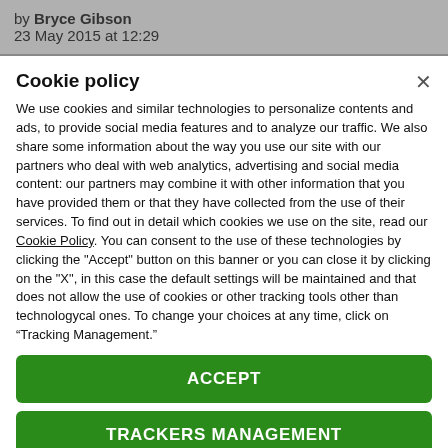by Bryce Gibson
23 May 2015 at 12:29
Cookie policy
We use cookies and similar technologies to personalize contents and ads, to provide social media features and to analyze our traffic. We also share some information about the way you use our site with our partners who deal with web analytics, advertising and social media content: our partners may combine it with other information that you have provided them or that they have collected from the use of their services. To find out in detail which cookies we use on the site, read our Cookie Policy. You can consent to the use of these technologies by clicking the "Accept" button on this banner or you can close it by clicking on the "X", in this case the default settings will be maintained and that does not allow the use of cookies or other tracking tools other than technologycal ones. To change your choices at any time, click on “Tracking Management.”
ACCEPT
TRACKERS MANAGEMENT
Show vendors | Show purposes